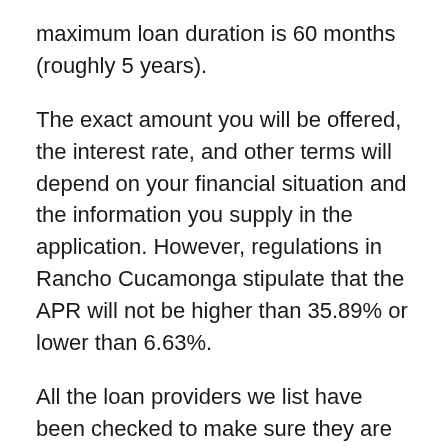maximum loan duration is 60 months (roughly 5 years).
The exact amount you will be offered, the interest rate, and other terms will depend on your financial situation and the information you supply in the application. However, regulations in Rancho Cucamonga stipulate that the APR will not be higher than 35.89% or lower than 6.63%.
All the loan providers we list have been checked to make sure they are licensed and meet these regulations, though it is always wise to check for misleading statements and marketing jargon.
For example, there shouldn't be any promises